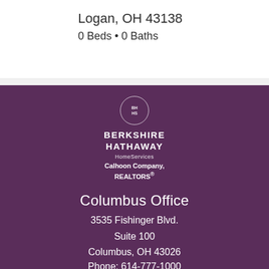Logan, OH 43138
0 Beds • 0 Baths
[Figure (logo): Berkshire Hathaway HomeServices Calhoon Company, REALTORS logo with circular BHHS emblem]
Columbus Office
3535 Fishinger Blvd.
Suite 100
Columbus, OH 43026
Phone: 614-777-1000